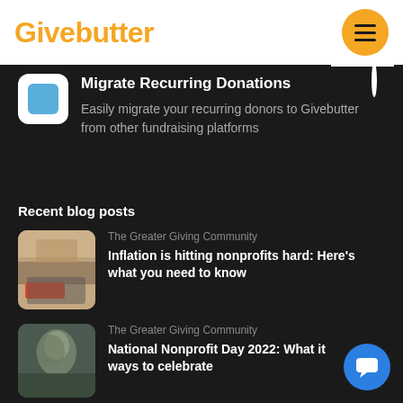Givebutter
Migrate Recurring Donations
Easily migrate your recurring donors to Givebutter from other fundraising platforms
Recent blog posts
The Greater Giving Community
Inflation is hitting nonprofits hard: Here's what you need to know
The Greater Giving Community
National Nonprofit Day 2022: What it ways to celebrate